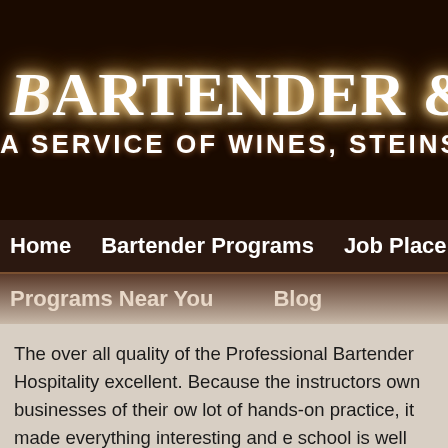Bartender & Hospita
A SERVICE OF WINES, STEINS &
Home   Bartender Programs   Job Placement
Programs Near You   Blog
The over all quality of the Professional Bartender Hospitality excellent. Because the instructors own businesses of their own lot of hands-on practice, it made everything interesting and e school is well equipped and the business has been in existence reputation is why I took this class in particular and I am most outcome. In addition to the fine training that I received, I was